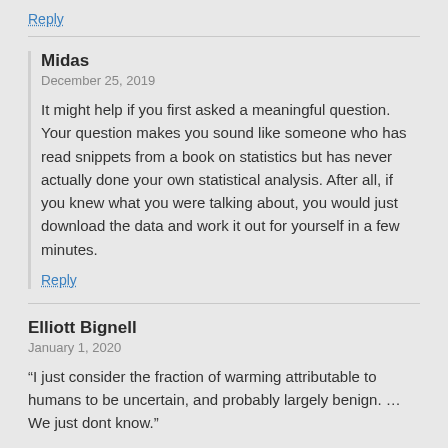Reply
Midas
December 25, 2019
It might help if you first asked a meaningful question. Your question makes you sound like someone who has read snippets from a book on statistics but has never actually done your own statistical analysis. After all, if you knew what you were talking about, you would just download the data and work it out for yourself in a few minutes.
Reply
Elliott Bignell
January 1, 2020
“I just consider the fraction of warming attributable to humans to be uncertain, and probably largely benign. … We just dont know.”